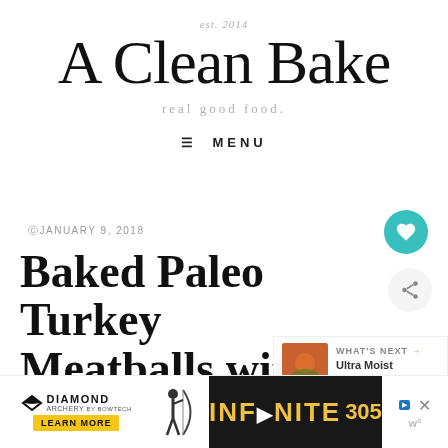est. 2014
A Clean Bake
real good food.
≡ MENU
©JANUARY 9, 2018
Baked Paleo Turkey Meatballs with S…
[Figure (screenshot): WHAT'S NEXT arrow: Ultra Moist Slow Cooker... thumbnail]
[Figure (screenshot): Diamond Archery advertisement banner with Infinite 305 product, Learn More button, and ad close/mute controls]